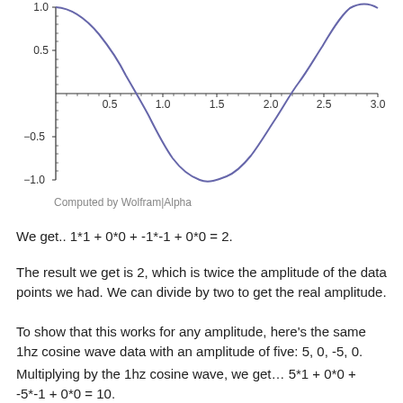[Figure (continuous-plot): A cosine wave plot from x=0 to x=3, y ranging from -1.0 to 1.0. The curve starts at y=1 at x=0, descends to y=-1 around x=1.5, and rises back toward y=1 at x=3. Y-axis labels: 1.0, 0.5, -0.5, -1.0. X-axis labels: 0.5, 1.0, 1.5, 2.0, 2.5, 3.0. Computed by Wolfram|Alpha.]
Computed by Wolfram|Alpha
We get.. 1*1 + 0*0 + -1*-1 + 0*0 = 2.
The result we get is 2, which is twice the amplitude of the data points we had. We can divide by two to get the real amplitude.
To show that this works for any amplitude, here's the same 1hz cosine wave data with an amplitude of five: 5, 0, -5, 0.
Multiplying by the 1hz cosine wave, we get… 5*1 + 0*0 + -5*-1 + 0*0 = 10.